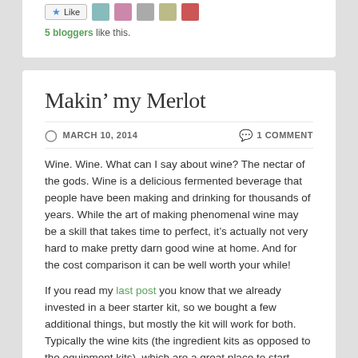[Figure (other): Like button with star icon and 5 blogger avatar thumbnails]
5 bloggers like this.
Makin’ my Merlot
MARCH 10, 2014   1 COMMENT
Wine. Wine. What can I say about wine? The nectar of the gods. Wine is a delicious fermented beverage that people have been making and drinking for thousands of years. While the art of making phenomenal wine may be a skill that takes time to perfect, it’s actually not very hard to make pretty darn good wine at home. And for the cost comparison it can be well worth your while!
If you read my last post you know that we already invested in a beer starter kit, so we bought a few additional things, but mostly the kit will work for both.  Typically the wine kits (the ingredient kits as opposed to the equipment kits), which are a great place to start, make 6 gallons , so you need a 6 gallon